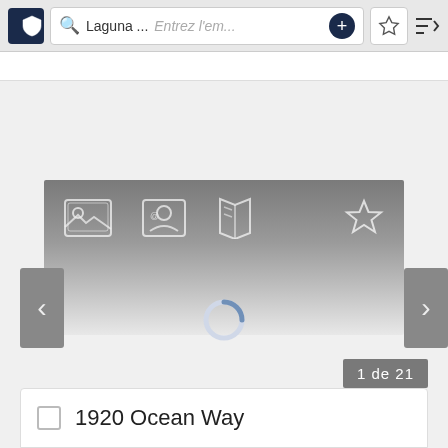[Figure (screenshot): App top navigation bar with shield icon, search field showing 'Laguna ...', placeholder text 'Entrez l'em...', plus button, star/bookmark button, and sort icon]
[Figure (screenshot): Gray gradient card panel with icons: photo icon, contact/address book icon, map/book icon, and star outline icon on the right]
[Figure (screenshot): Left navigation arrow button (chevron left) on gray background]
[Figure (screenshot): Loading spinner circle indicator in center of page]
[Figure (screenshot): Right navigation arrow button (chevron right) on gray background]
1 de 21
1920 Ocean Way